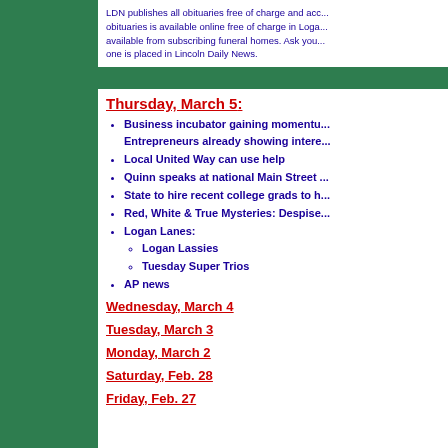LDN publishes all obituaries free of charge and acc... obituaries is available online free of charge in Loga... available from subscribing funeral homes. Ask you... one is placed in Lincoln Daily News.
Thursday, March 5:
Business incubator gaining momentum; Entrepreneurs already showing intere...
Local United Way can use help
Quinn speaks at national Main Street ...
State to hire recent college grads to h...
Red, White & True Mysteries: Despise...
Logan Lanes: Logan Lassies; Tuesday Super Trios
AP news
Wednesday, March 4
Tuesday, March 3
Monday, March 2
Saturday, Feb. 28
Friday, Feb. 27